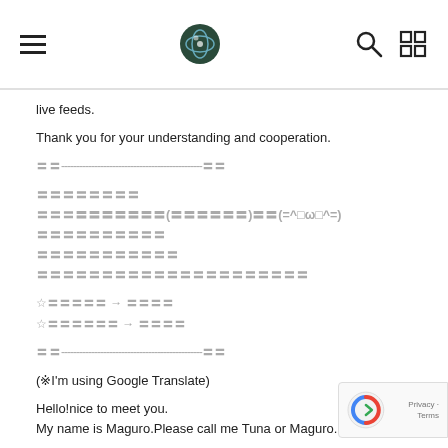[hamburger menu] [logo] [search icon] [grid icon]
live feeds.
Thank you for your understanding and cooperation.
〓〓-----------------------------------------------〓〓
〓〓〓〓〓〓〓〓
〓〓〓〓〓〓〓〓〓〓〓(〓〓〓〓〓〓)〓〓(=^□ω□^=)
〓〓〓〓〓〓〓〓〓〓
〓〓〓〓〓〓〓〓〓〓〓
〓〓〓〓〓〓〓〓〓〓〓〓〓〓〓〓〓〓〓〓〓
☆〓〓〓〓〓 → 〓〓〓〓
☆〓〓〓〓〓〓 → 〓〓〓〓
〓〓-----------------------------------------------〓〓
(※I'm using Google Translate)
Hello!nice to meet you.
My name is Maguro.Please call me Tuna or Maguro.